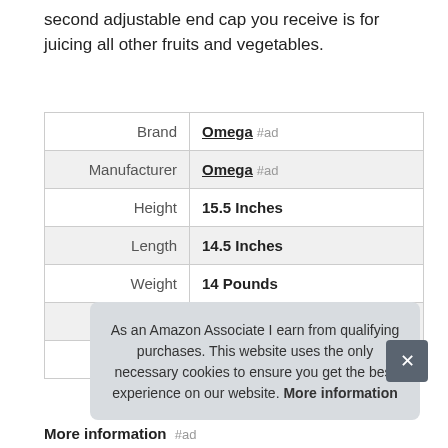second adjustable end cap you receive is for juicing all other fruits and vegetables.
| Attribute | Value |
| --- | --- |
| Brand | Omega #ad |
| Manufacturer | Omega #ad |
| Height | 15.5 Inches |
| Length | 14.5 Inches |
| Weight | 14 Pounds |
| Width | 6.5 Inches |
| Part Number | MM900HDS |
As an Amazon Associate I earn from qualifying purchases. This website uses the only necessary cookies to ensure you get the best experience on our website. More information
More information #ad